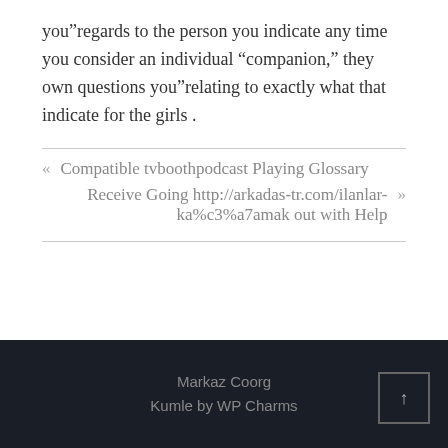you”regards to the person you indicate any time you consider an individual “companion,” they own questions you”relating to exactly what that indicate for the girls .
«  Compatible tvboothpodcast Playing Glossary
Receive Going http://arkadas-tr.com/ilanlar-ka%c3%a7amak out with Help  »
Markaz Coorg
Kumle by WP Charms